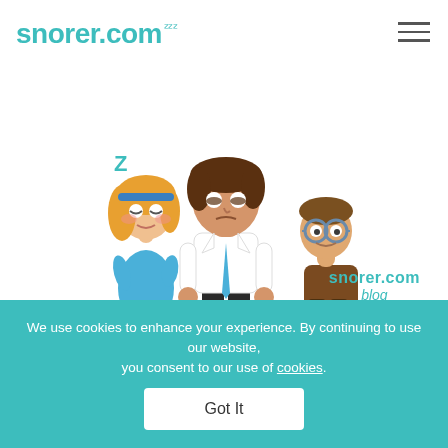snorer.com ᶻᶻᶻ
[Figure (illustration): Cartoon illustration of three characters: a tired-looking man in a white shirt and blue tie in the center, a blonde woman in a blue dress to his left with a 'Z' above her head (sleeping), and a young boy with glasses to his right. The snorer.com blog logo appears to the right.]
TURN OVER! You're Snoring...
We use cookies to enhance your experience. By continuing to use our website, you consent to our use of cookies.
Got It